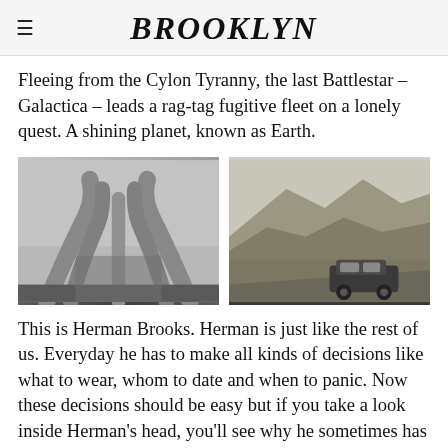BROOKLYN
Fleeing from the Cylon Tyranny, the last Battlestar – Galactica – leads a rag-tag fugitive fleet on a lonely quest. A shining planet, known as Earth.
[Figure (photo): Black and white photo of arms/hands reaching upward in a tent-like formation against a sky background]
[Figure (photo): Black and white photo of a rocky mountain landscape with a vintage car driving on a road in the foreground]
This is Herman Brooks. Herman is just like the rest of us. Everyday he has to make all kinds of decisions like what to wear, whom to date and when to panic. Now these decisions should be easy but if you take a look inside Herman's head, you'll see why he sometimes has trouble making up his mind. Sometimes they agree…